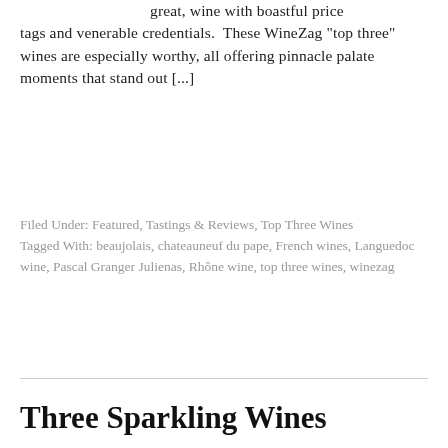great, wine with boastful price tags and venerable credentials.  These WineZag "top three" wines are especially worthy, all offering pinnacle palate moments that stand out [...]
Filed Under: Featured, Tastings & Reviews, Top Three Wines
Tagged With: beaujolais, chateauneuf du pape, French wines, Languedoc wine, Pascal Granger Julienas, Rhône wine, top three wines, winezag
Three Sparkling Wines